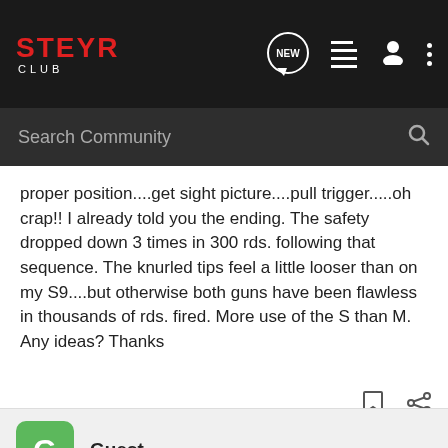STEYR CLUB
Search Community
proper position....get sight picture....pull trigger.....oh crap!! I already told you the ending. The safety dropped down 3 times in 300 rds. following that sequence. The knurled tips feel a little looser than on my S9....but otherwise both guns have been flawless in thousands of rds. fired. More use of the S than M. Any ideas? Thanks
Guest ·
#2 · Jun 15, 2006
Maybe someone knows how to mechanically remove it